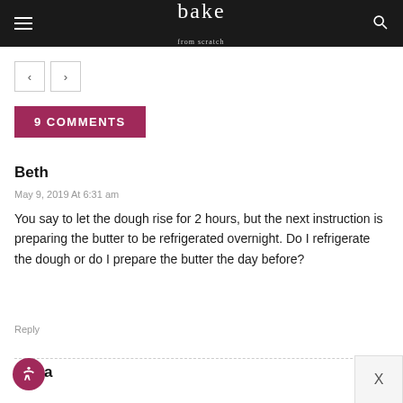bake
9 COMMENTS
Beth
May 9, 2019 At 6:31 am
You say to let the dough rise for 2 hours, but the next instruction is preparing the butter to be refrigerated overnight. Do I refrigerate the dough or do I prepare the butter the day before?
Reply
Maya